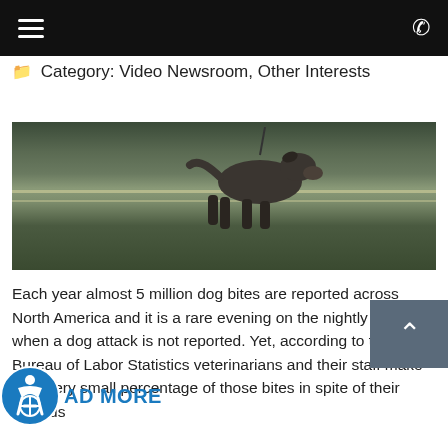Menu | Phone
Category: Video Newsroom, Other Interests
[Figure (photo): A dog walking near a fence, captured in a grainy video still with a greenish outdoor background.]
Each year almost 5 million dog bites are reported across North America and it is a rare evening on the nightly news when a dog attack is not reported. Yet, according to the Bureau of Labor Statistics veterinarians and their staff make up a very small percentage of those bites in spite of their obvious
READ MORE